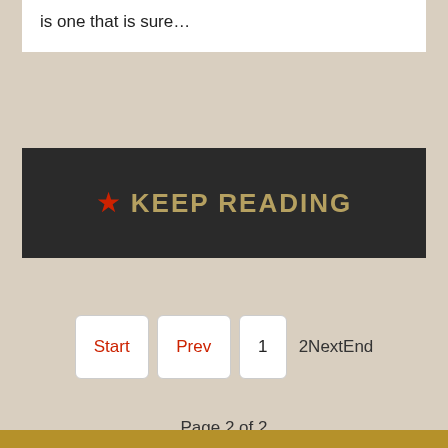is one that is sure…
[Figure (other): Keep Reading banner with red star icon and gold text on dark background]
Start  Prev  1  2NextEnd
Page 2 of 2